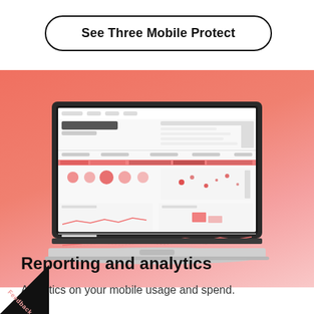See Three Mobile Protect
[Figure (screenshot): Laptop computer displaying a pink/red dashboard analytics interface showing mobile usage reporting, charts, and data visualizations. The laptop is shown against a coral-to-pink gradient background.]
Reporting and analytics
Analytics on your mobile usage and spend.